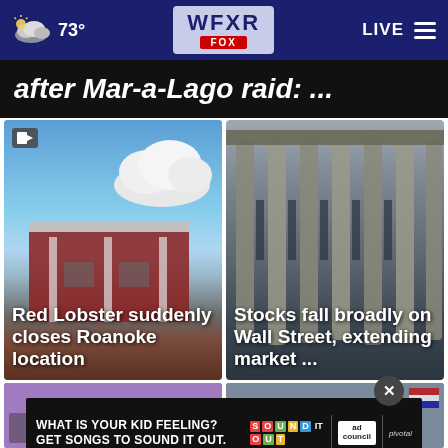73° WFXR FOX  LIVE
after Mar-a-Lago raid: ...
[Figure (photo): Red Lobster building exterior with red barn-style architecture and blue cloudy sky]
Red Lobster suddenly closes Roanoke location
[Figure (photo): Wall Street building with large classical columns, NYSE exterior]
Stocks fall broadly on Wall Street, extending market ...
[Figure (photo): Bottom left news card - partially visible]
[Figure (photo): Bottom right news card - partially visible with American flag]
[Figure (other): Advertisement: What is your kid feeling? Get songs to sound it out. Sound It Out campaign by Ad Council and Pivotal.]